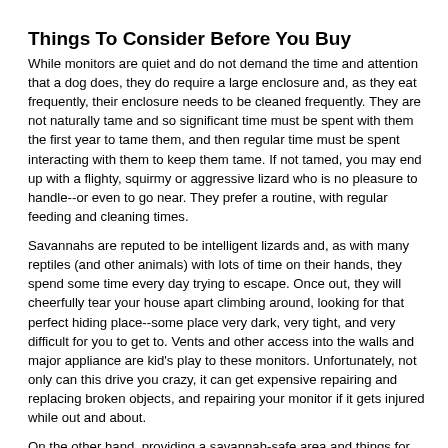Things To Consider Before You Buy
While monitors are quiet and do not demand the time and attention that a dog does, they do require a large enclosure and, as they eat frequently, their enclosure needs to be cleaned frequently. They are not naturally tame and so significant time must be spent with them the first year to tame them, and then regular time must be spent interacting with them to keep them tame. If not tamed, you may end up with a flighty, squirmy or aggressive lizard who is no pleasure to handle--or even to go near. They prefer a routine, with regular feeding and cleaning times.
Savannahs are reputed to be intelligent lizards and, as with many reptiles (and other animals) with lots of time on their hands, they spend some time every day trying to escape. Once out, they will cheerfully tear your house apart climbing around, looking for that perfect hiding place--some place very dark, very tight, and very difficult for you to get to. Vents and other access into the walls and major appliance are kid's play to these monitors. Unfortunately, not only can this drive you crazy, it can get expensive repairing and replacing broken objects, and repairing your monitor if it gets injured while out and about.
On the other hand, providing a savannah-safe area and things for them to climb on, some will do so, contentedly basking for some time before moving on. You can thus let your savannah out into a secured room for regular periods of exercise and sunning through an open window. This will benefit the savannah in many ways, not the least of which will be some exercise to offset their tendency towards obesity (and liver disease).